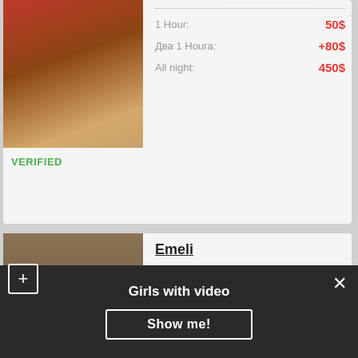[Figure (photo): Photo of a person in red lingerie on a bed]
VERIFIED
1 Hour: 50$
Два 1 Houra: +80$
All night: 450$
[Figure (photo): Photo of a young blonde woman taking a mirror selfie wearing a dark tank top and shorts]
Emeli
| Attribute | Value |
| --- | --- |
| Age: | 20 |
| Height: | 174 |
| Weight: | 60 |
| Bust: | Large |
1 Hour: 30$
2 1 Houra: +20$
All night: 500$
Girls with video
Show me!